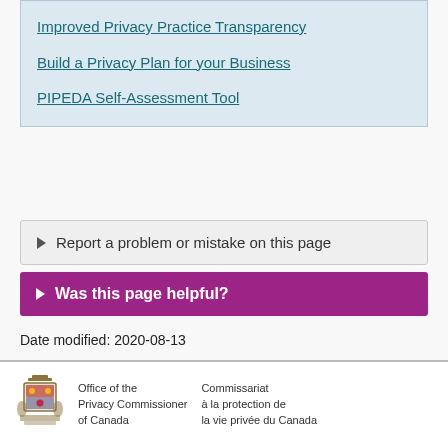Improved Privacy Practice Transparency
Build a Privacy Plan for your Business
PIPEDA Self-Assessment Tool
▶ Report a problem or mistake on this page
▶ Was this page helpful?
Date modified: 2020-08-13
[Figure (logo): Office of the Privacy Commissioner of Canada / Commissariat à la protection de la vie privée du Canada logo with coat of arms crest]
Office of the
Privacy Commissioner
of Canada
Commissariat
à la protection de
la vie privée du Canada